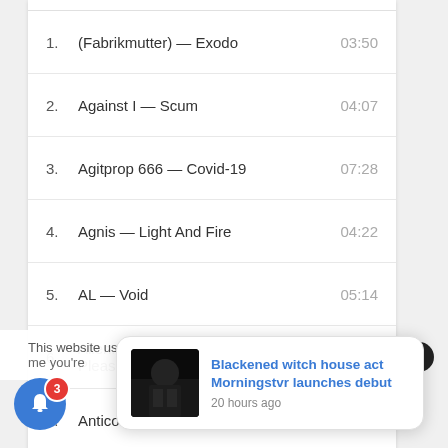1.  (Fabrikmutter) — Exodo    03:50
2.  Against I — Scum    04:07
3.  Agitprop 666 — Covid-19    07:28
4.  Agnis — Light And Fire    04:22
5.  AL — Void    05:14
6.  Alien:Nation — Dimenxional Pleasures (feat. ...    03:57
7.  Anticorpi — Curami / Heal Me    03:14
8.  Antiflvx — Hilos    04:49
9.  Arctic Desert — Drop To Your Knees    07:52
10.  ARS — Brain Control    04:01
This website us... me you're...
Cookie settings
[Figure (screenshot): Notification popup with dark image of band, titled 'Blackened witch house act Morningstvr launches debut', timestamp '20 hours ago']
Blackened witch house act Morningstvr launches debut
20 hours ago